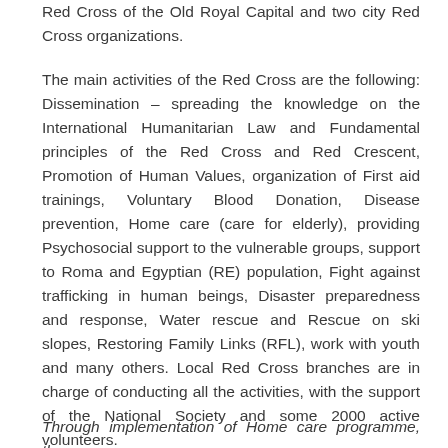Red Cross of the Old Royal Capital and two city Red Cross organizations.
The main activities of the Red Cross are the following: Dissemination – spreading the knowledge on the International Humanitarian Law and Fundamental principles of the Red Cross and Red Crescent, Promotion of Human Values, organization of First aid trainings, Voluntary Blood Donation, Disease prevention, Home care (care for elderly), providing Psychosocial support to the vulnerable groups, support to Roma and Egyptian (RE) population, Fight against trafficking in human beings, Disaster preparedness and response, Water rescue and Rescue on ski slopes, Restoring Family Links (RFL), work with youth and many others. Local Red Cross branches are in charge of conducting all the activities, with the support of the National Society and some 2000 active volunteers.
Through implementation of Home care programme, the